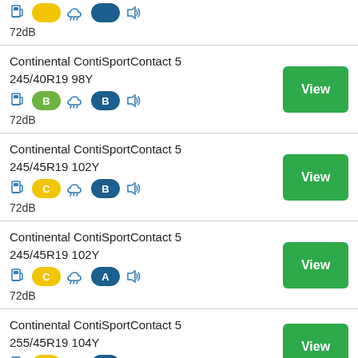72dB
Continental ContiSportContact 5 245/40R19 98Y — B, B, 72dB — View
Continental ContiSportContact 5 245/45R19 102Y — C, B, 72dB — View
Continental ContiSportContact 5 245/45R19 102Y — C, A, 72dB — View
Continental ContiSportContact 5 255/45R19 104Y — View